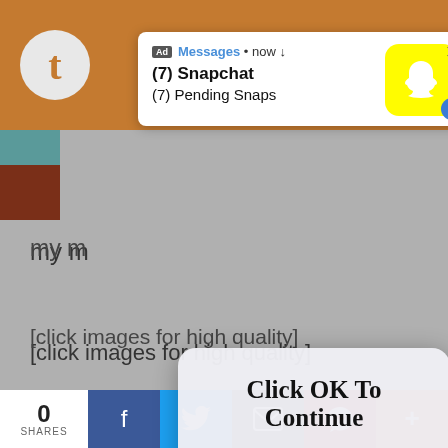[Figure (screenshot): Screenshot of a webpage with overlapping UI elements: a Snapchat ad notification popup at top, a modal dialog saying 'Click OK To Continue' in center, background webpage content showing text and social share bar at bottom]
Ad Messages • now ↓
(7) Snapchat
(7) Pending Snaps
my m
[click images for high quality]
[transcript un...
Other advice posts that may be of interest:
Click OK To Continue
OK
All About Procrastination
How To Study When You Really Don't Want To
Common Study Mistakes
0
SHARES